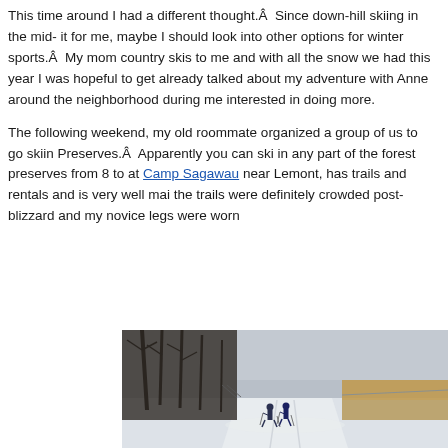This time around I had a different thought.Â  Since down-hill skiing in the mid- it for me, maybe I should look into other options for winter sports.Â  My mom country skis to me and with all the snow we had this year I was hopeful to get already talked about my adventure with Anne around the neighborhood during me interested in doing more.
The following weekend, my old roommate organized a group of us to go skiin Preserves.Â  Apparently you can ski in any part of the forest preserves from 8 to at Camp Sagawau near Lemont, has trails and rentals and is very well mai the trails were definitely crowded post-blizzard and my novice legs were worn
[Figure (photo): Two cross-country skiers on a snow-covered trail flanked by bare trees on the left and dry reeds on the right under an overcast winter sky.]